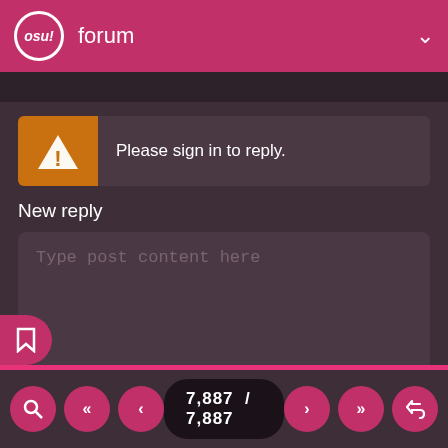osu! forum
Please sign in to reply.
New reply
Type post content here
Preview
Post
7,887 / 7,887